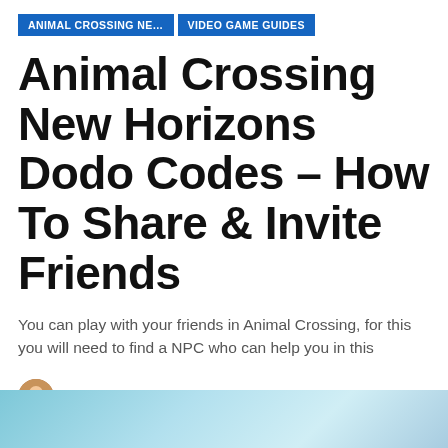ANIMAL CROSSING NE... | VIDEO GAME GUIDES
Animal Crossing New Horizons Dodo Codes – How To Share & Invite Friends
You can play with your friends in Animal Crossing, for this you will need to find a NPC who can help you in this
By Prasad More — Last updated Oct 18, 2021
[Figure (photo): Bottom strip showing Animal Crossing game screenshot with light blue sky background]